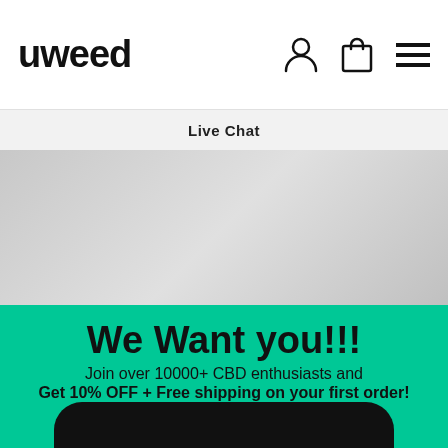uweed — navigation header with user, cart, and menu icons
Live Chat
[Figure (photo): Partial product/lifestyle image, greyed out placeholder area]
We Want you!!!
Join over 10000+ CBD enthusiasts and
Get 10% OFF + Free shipping on your first order!
DE  EN  FR language radio buttons, EN selected
ENTER YOUR EMAIL